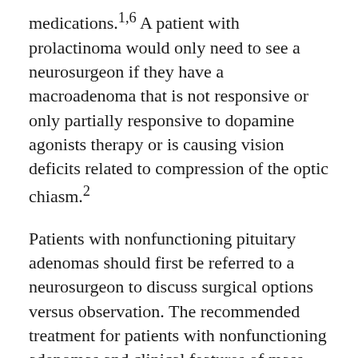medications.1,6 A patient with prolactinoma would only need to see a neurosurgeon if they have a macroadenoma that is not responsive or only partially responsive to dopamine agonists therapy or is causing vision deficits related to compression of the optic chiasm.2
Patients with nonfunctioning pituitary adenomas should first be referred to a neurosurgeon to discuss surgical options versus observation. The recommended treatment for patients with nonfunctioning adenomas and clinical features of mass effect (ie, visual deficits) is surgery.1,6 If the